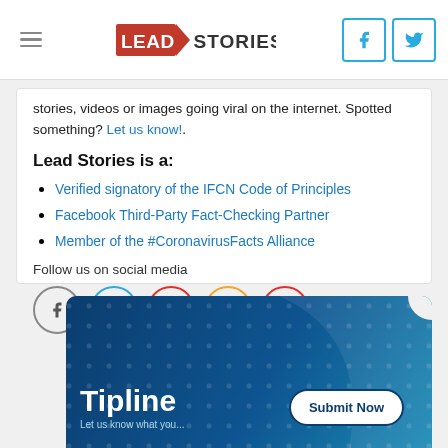Lead Stories
stories, videos or images going viral on the internet. Spotted something? Let us know!.
Lead Stories is a:
Verified signatory of the IFCN Code of Principles
Facebook Third-Party Fact-Checking Partner
Member of the #CoronavirusFacts Alliance
Follow us on social media
[Figure (infographic): Tipline banner with dark blue background, dot pattern, Tipline heading, 'Let us know what you...' subtext, and Submit Now button]
Tipline
Submit Now